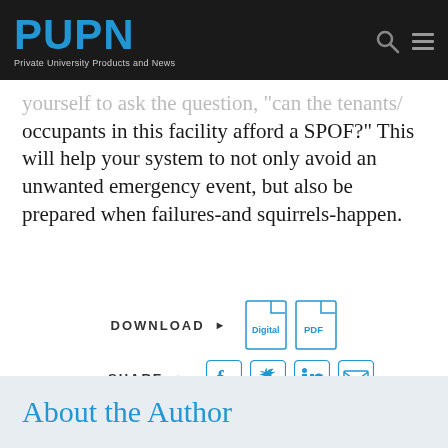PUPN — Private University Products and News
yourself to ask the question, "Can the tenants/occupants in this facility afford a SPOF?" This will help your system to not only avoid an unwanted emergency event, but also be prepared when failures-and squirrels-happen.
[Figure (infographic): Download buttons (Digital and PDF icons) and Share buttons (Facebook, Twitter, LinkedIn, Email icons)]
About the Author